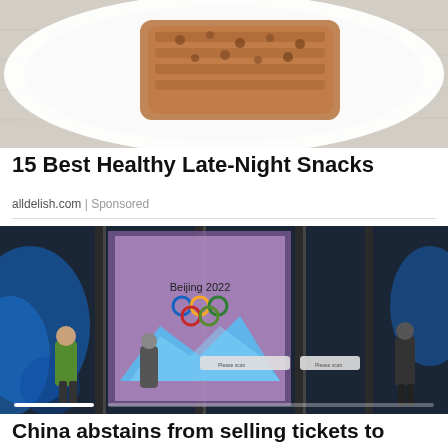[Figure (photo): Photo of a healthy snack on a white plate — a piece of baked/toasted food item viewed from above on a light wooden surface]
15 Best Healthy Late-Night Snacks
alldelish.com | Sponsored
[Figure (photo): Photo of glass entrance doors to a Beijing 2022 Winter Olympics venue showing Olympic rings and mountain scenery on a large display screen, with security personnel visible]
China abstains from selling tickets to general